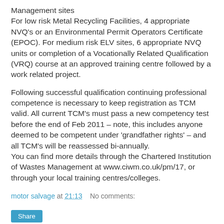Management sites
For low risk Metal Recycling Facilities, 4 appropriate NVQ's or an Environmental Permit Operators Certificate (EPOC). For medium risk ELV sites, 6 appropriate NVQ units or completion of a Vocationally Related Qualification (VRQ) course at an approved training centre followed by a work related project.
Following successful qualification continuing professional competence is necessary to keep registration as TCM valid. All current TCM's must pass a new competency test before the end of Feb 2011 – note, this includes anyone deemed to be competent under 'grandfather rights' – and all TCM's will be reassessed bi-annually.
You can find more details through the Chartered Institution of Wastes Management at www.ciwm.co.uk/pm/17, or through your local training centres/colleges.
motor salvage at 21:13   No comments:
Share